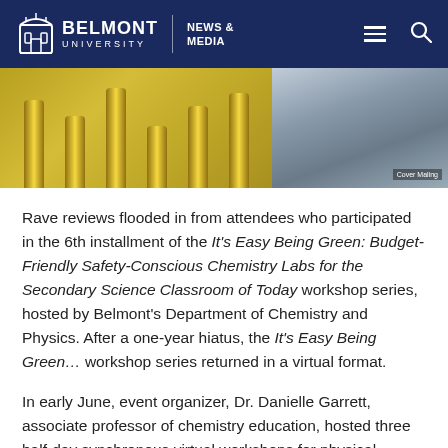BELMONT UNIVERSITY | NEWS & MEDIA
[Figure (photo): Two photos side by side: left shows yellow cylindrical lab equipment/glassware; right shows a person on a virtual video call.]
Rave reviews flooded in from attendees who participated in the 6th installment of the It's Easy Being Green: Budget-Friendly Safety-Conscious Chemistry Labs for the Secondary Science Classroom of Today workshop series, hosted by Belmont's Department of Chemistry and Physics. After a one-year hiatus, the It's Easy Being Green… workshop series returned in a virtual format.
In early June, event organizer, Dr. Danielle Garrett, associate professor of chemistry education, hosted three half-day synchronous virtual workshops for physical science and chemistry teachers. Prior to the workshop this year, Glow